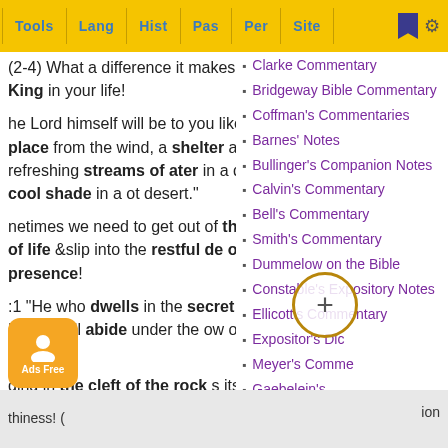Tools | Lang | Hist | Pas | Per | Site
(2-4) What a difference it makes if you have a King in your life!
he Lord himself will be to you like a hiding place from the wind, a shelter a storm, like refreshing streams of ater in a dry place, a cool shade in a ot desert."
netimes we need to get out of the re & heat of life &slip into the restful de of His presence!
:1 "He who dwells in the secret place eMost High Shall abide under the ow of the Almighty."
ding in the cleft of the rock s its safety there despite its thiness! (
?)
Clarke Commentary
Bridgeway Bible Commentary
Coffman's Commentaries
Barnes' Notes
Bullinger's Companion Notes
Calvin's Commentary
Bell's Commentary
Smith's Commentary
Dummelow on the Bible
Constable's Expository Notes
Ellicott's Commentary
Expositor's Dic
Meyer's Comme
Gaebelein's